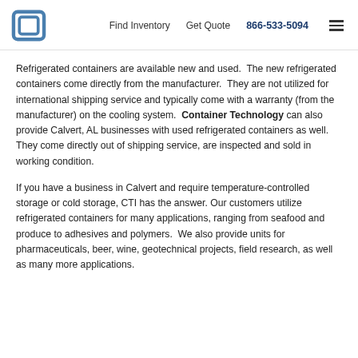Find Inventory  Get Quote  866-533-5094
Refrigerated containers are available new and used. The new refrigerated containers come directly from the manufacturer. They are not utilized for international shipping service and typically come with a warranty (from the manufacturer) on the cooling system. Container Technology can also provide Calvert, AL businesses with used refrigerated containers as well. They come directly out of shipping service, are inspected and sold in working condition.
If you have a business in Calvert and require temperature-controlled storage or cold storage, CTI has the answer. Our customers utilize refrigerated containers for many applications, ranging from seafood and produce to adhesives and polymers. We also provide units for pharmaceuticals, beer, wine, geotechnical projects, field research, as well as many more applications.